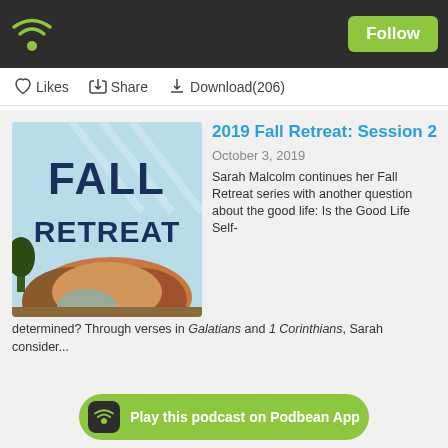[Figure (logo): Podbean podcast app header bar with wifi/podcast icon logo on left and green Follow button on right, dark background]
Likes   Share   Download(206)
[Figure (illustration): Fall Retreat podcast cover art showing illustrated mountain landscape with autumn foliage colors, bold dark blue text reading FALL RETREAT on light blue background]
2019 Fall Retreat: Session 2
October 3, 2019
Sarah Malcolm continues her Fall Retreat series with another question about the good life: Is the Good Life Self-determined?
Through verses in Galatians and 1 Corinthians, Sarah consider...
Play this podcast on Podbean App